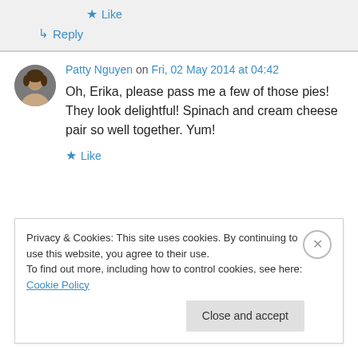★ Like
↳ Reply
Patty Nguyen on Fri, 02 May 2014 at 04:42
Oh, Erika, please pass me a few of those pies! They look delightful! Spinach and cream cheese pair so well together. Yum!
★ Like
Privacy & Cookies: This site uses cookies. By continuing to use this website, you agree to their use.
To find out more, including how to control cookies, see here: Cookie Policy
Close and accept